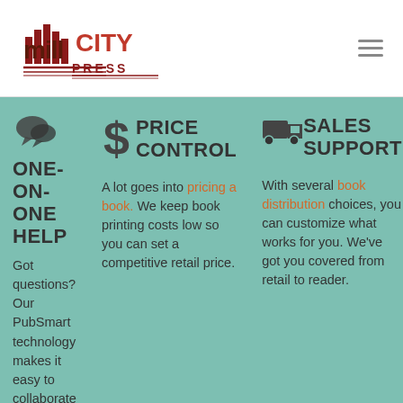[Figure (logo): Mill City Press logo with stylized text and building graphic]
ONE-ON-ONE HELP
Got questions? Our PubSmart technology makes it easy to collaborate with your...
PRICE CONTROL
A lot goes into pricing a book. We keep book printing costs low so you can set a competitive retail price.
SALES SUPPORT
With several book distribution choices, you can customize what works for you. We've got you covered from retail to reader.